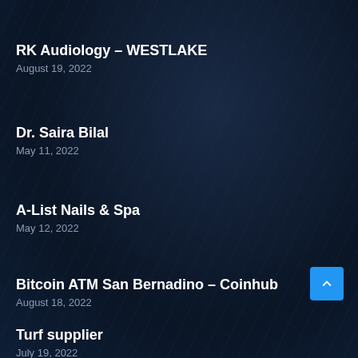RK Audiology – WESTLAKE
August 19, 2022
Dr. Saira Bilal
May 11, 2022
A-List Nails & Spa
May 12, 2022
Bitcoin ATM San Bernadino – Coinhub
August 18, 2022
Turf supplier
July 19, 2022